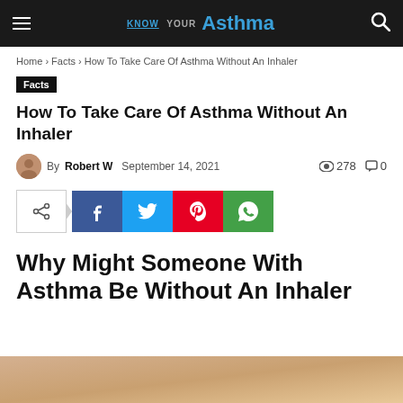KNOW YOUR Asthma
Home › Facts › How To Take Care Of Asthma Without An Inhaler
Facts
How To Take Care Of Asthma Without An Inhaler
By Robert W  September 14, 2021  278  0
[Figure (other): Social share buttons: share toggle, Facebook, Twitter, Pinterest, WhatsApp]
Why Might Someone With Asthma Be Without An Inhaler
[Figure (photo): Partial photo of a person, cropped at bottom of page]